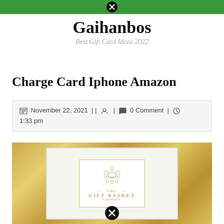Gaihanbos — Best Gift Card Ideas 2022 (website header bar with close button)
Gaihanbos
Best Gift Card Ideas 2022
Charge Card Iphone Amazon
November 22, 2021 | | [user icon] | [comment icon] 0 Comment | [clock icon] 1:33 pm
[Figure (photo): Gift basket logo on white background with gold glitter border. The logo shows an ornate decorative symbol above the text 'THE GIFT BASKET' in gold lettering. White gift boxes visible in background. A close button (X in circle) appears at the bottom center.]